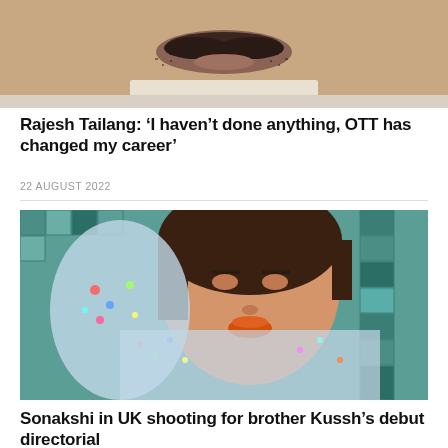[Figure (photo): Close-up photo of a man's lower face showing mustache and beard, wearing a white shirt]
Rajesh Tailang: ‘I haven’t done anything, OTT has changed my career’
22 AUGUST 2022
[Figure (photo): Selfie photo of a young woman wearing a colorful sparkly/sequined outfit against a teal mosaic background]
Sonakshi in UK shooting for brother Kussh’s debut directorial